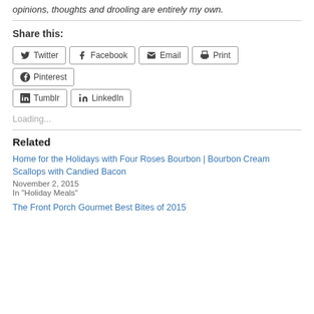opinions, thoughts and drooling are entirely my own.
Share this:
Twitter Facebook Email Print Pinterest Tumblr LinkedIn
Loading...
Related
Home for the Holidays with Four Roses Bourbon | Bourbon Cream Scallops with Candied Bacon
November 2, 2015
In "Holiday Meals"
The Front Porch Gourmet Best Bites of 2015